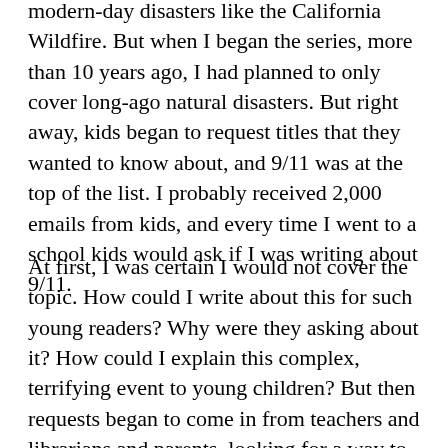modern-day disasters like the California Wildfire. But when I began the series, more than 10 years ago, I had planned to only cover long-ago natural disasters. But right away, kids began to request titles that they wanted to know about, and 9/11 was at the top of the list. I probably received 2,000 emails from kids, and every time I went to a school kids would ask if I was writing about 9/11.
At first, I was certain I would not cover the topic. How could I write about this for such young readers? Why were they asking about it? How could I explain this complex, terrifying event to young children? But then requests began to come in from teachers and librarians and parents, looking for a way to answer kids’ questions about this topic. After I began to understand that part of